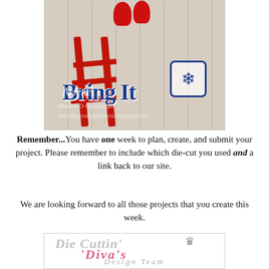[Figure (photo): A Christmas card craft featuring a red sled against a white wood plank background with red mittens/ornaments at the top, a snowflake embellishment, and 'Bring It' die-cut text in navy blue. Watermarks read 'Arlene', 'Double D Challenges', and 'www.dancraftycreations.blogspot.com'.]
Remember...You have one week to plan, create, and submit your project. Please remember to include which die-cut you used and a link back to our site.
We are looking forward to all those projects that you create this week.
[Figure (logo): Die Cuttin' Divas Design Team logo with decorative tiara crown graphic. 'Die Cuttin'' in silver/gray italic script, 'Diva's' in pink cursive, 'Design Team' in gray italic below.]